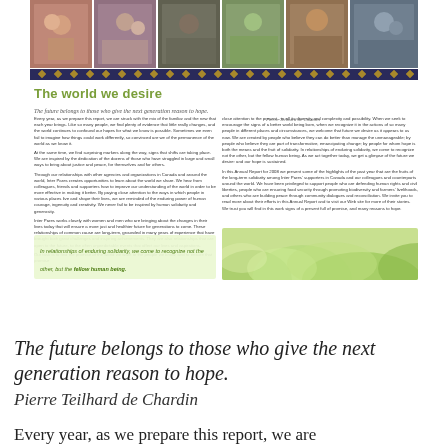[Figure (photo): A horizontal strip of six photographs showing diverse people from around the world, arranged side by side with a decorative blue border strip below]
The world we desire
The future belongs to those who give the next generation reason to hope.
Pierre Teilhard de Chardin
Every year, as we prepare this report, we are struck with the mix of the familiar and the new that each year brings. Like so many people, we find plenty of evidence that little really changes, and the world continues to confound our hopes for what we know is possible. Sometimes we even fail to imagine how things could work differently, so convinced are we of the permanence of the world as we know it.
At the same time, we find surprising markers along the way, signs that shifts are taking place. We are inspired by the dedication of the dozens of those who have struggled in large and small ways to bring about justice and peace, for themselves and for others.
Through our relationships with other agencies and organizations in Canada and around the world, Inter Pares creates opportunities to learn about the world we share. We hear from colleagues, friends and supporters how to improve our understanding of the world in order to be more effective in making it better. By paying close attention to the ways in which people in various places live and shape their lives, we are reminded of the enduring power of human courage, ingenuity and creativity. We never fail to be inspired by human solidarity and generosity.
Inter Pares works closely with women and men who are bringing about the changes in their lives today that will ensure a more just and healthier future for generations to come. These relationships of common cause are long-term, grounded in many years of experience that have brought both great challenges and inspiring achievements. They are also relationships that are open to the future, to the often unpredictable events that affect our lives and aspirations.
Our task is to find the promise of the world we want to the people we know, and to ensure that promise
close attention to the present - in all its diversity and complexity and possibility. When we seek to encourage the signs of a better world being born, when we recognize it in the actions of so many people in different places and circumstances, we welcome that future we desire as it appears to us now. We are created by people who believe they can do better than manage the unmanageable; by people who believe they are part of transformative, emancipating change; by people for whom hope is both the means and the fruit of solidarity. In relationships of enduring solidarity, we come to recognize not the other, but the fellow human being. As we act together today, we get a glimpse of the future we desire: and our hope is sustained.
In this Annual Report for 2008 we present some of the highlights of the past year that are the fruits of the long-term solidarity among Inter Pares' supporters in Canada and our colleagues and counterparts around the world. We have been privileged to support people who are defending human rights and civil liberties, people who are ensuring food security through promoting biodiversity and farmers' livelihoods, and others who are building peace through community dialogues and reconciliation. We invite you to read more about their efforts in this Annual Report and to visit our Web site for more of their stories. We trust you will find in this work signs of a present full of promise, and many reasons to hope.
In relationships of enduring solidarity, we come to recognize not the other, but the fellow human being.
The future belongs to those who give the next generation reason to hope.
Pierre Teilhard de Chardin
Every year, as we prepare this report, we are